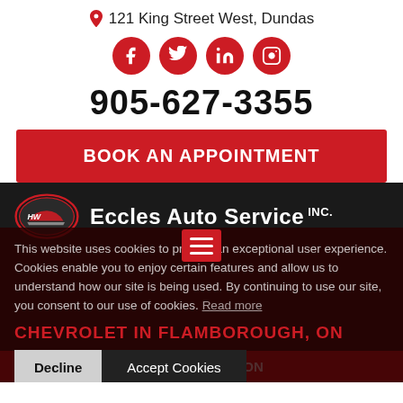121 King Street West, Dundas
[Figure (infographic): Four red circular social media icons: Facebook, Twitter, LinkedIn, Instagram]
905-627-3355
BOOK AN APPOINTMENT
[Figure (logo): Eccles Auto Service INC. logo with oval car emblem on dark background]
This website uses cookies to provide an exceptional user experience. Cookies enable you to enjoy certain features and allow us to understand how our site is being used. By continuing to use our site, you consent to our use of cookies. Read more
CHEVROLET IN FLAMBOROUGH, ON
Decline   Accept Cookies
Home >> Chevrolet in Flamborough, ON